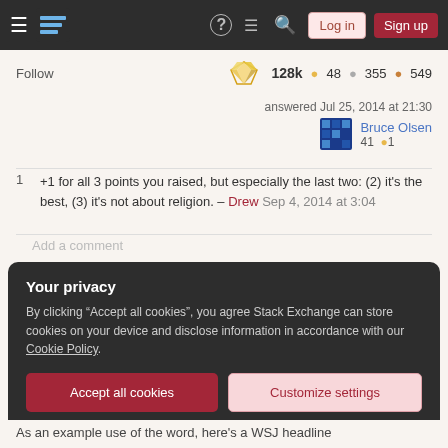Stack Exchange navigation bar with hamburger menu, logo, help, chat, search, Log in, Sign up buttons
Follow  128k  48  355  549
answered Jul 25, 2014 at 21:30
Bruce Olsen  41  1
1  +1 for all 3 points you raised, but especially the last two: (2) it's the best, (3) it's not about religion. – Drew Sep 4, 2014 at 3:04
Add a comment
Your privacy
By clicking "Accept all cookies", you agree Stack Exchange can store cookies on your device and disclose information in accordance with our Cookie Policy.
Accept all cookies  Customize settings
As an example use of the word, here's a WSJ headline